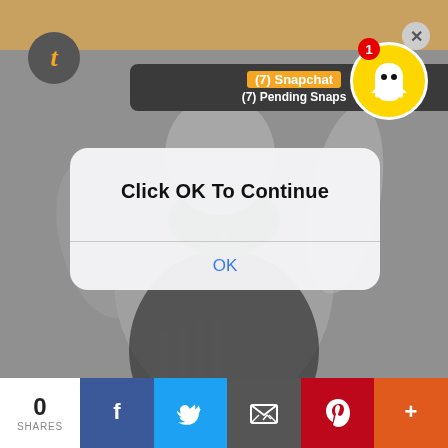[Figure (screenshot): Screenshot of a webpage showing a Snapchat browser notification bar saying '(7) Snapchat' and '(7) Pending Snaps', overlaid on a cartoon/sketch illustration with a modal dialog box saying 'Click OK To Continue' with an OK button, and a social share bar at the bottom with 0 SHARES, Facebook, Twitter, Email, Pinterest, and More buttons.]
(7) Snapchat
(7) Pending Snaps
Click OK To Continue
OK
0
SHARES